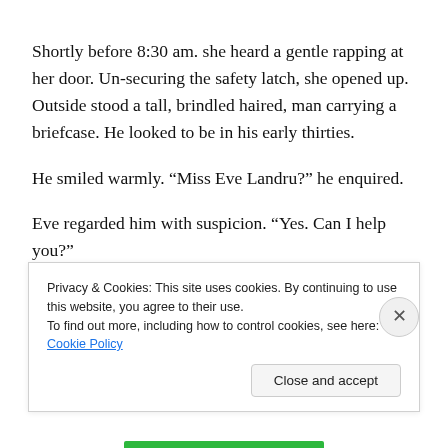Shortly before 8:30 am. she heard a gentle rapping at her door. Un-securing the safety latch, she opened up. Outside stood a tall, brindled haired, man carrying a briefcase. He looked to be in his early thirties.
He smiled warmly. “Miss Eve Landru?” he enquired.
Eve regarded him with suspicion. “Yes. Can I help you?”
The stranger looked with pity on the careworn, young
Privacy & Cookies: This site uses cookies. By continuing to use this website, you agree to their use.
To find out more, including how to control cookies, see here: Cookie Policy